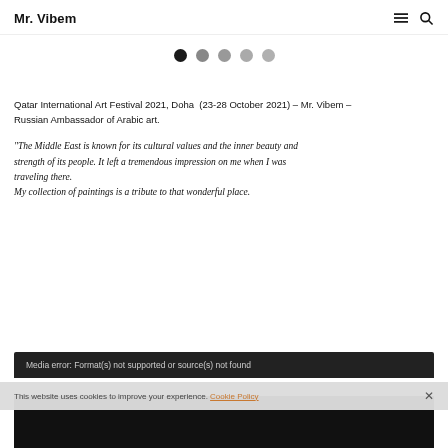Mr. Vibem
[Figure (other): Slider navigation dots: 5 circles, first is dark/active, rest are grey]
Qatar International Art Festival 2021, Doha  (23-28 October 2021) – Mr. Vibem – Russian Ambassador of Arabic art.
“The Middle East is known for its cultural values and the inner beauty and strength of its people. It left a tremendous impression on me when I was traveling there.
My collection of paintings is a tribute to that wonderful place.
[Figure (screenshot): Media error bar: 'Media error: Format(s) not supported or source(s) not found' on dark background]
This website uses cookies to improve your experience. Cookie Policy